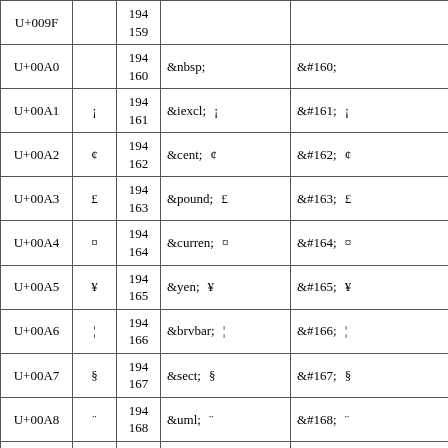| Code | Char | Bytes | Named entity | Numeric entity |
| --- | --- | --- | --- | --- |
| U+009F |  | 194
159 |  |  |
| U+00A0 |  | 194
160 | &nbsp; | &#160; |
| U+00A1 | ¡ | 194
161 | &iexcl;   ¡ | &#161;   ¡ |
| U+00A2 | ¢ | 194
162 | &cent;   ¢ | &#162;   ¢ |
| U+00A3 | £ | 194
163 | &pound;   £ | &#163;   £ |
| U+00A4 | ¤ | 194
164 | &curren;   ¤ | &#164;   ¤ |
| U+00A5 | ¥ | 194
165 | &yen;   ¥ | &#165;   ¥ |
| U+00A6 | ¦ | 194
166 | &brvbar;   ¦ | &#166;   ¦ |
| U+00A7 | § | 194
167 | &sect;   § | &#167;   § |
| U+00A8 | ¨ | 194
168 | &uml;   ¨ | &#168;   ¨ |
| U+00A9 | © | 194
169 | &copy;   © | &#169;   © |